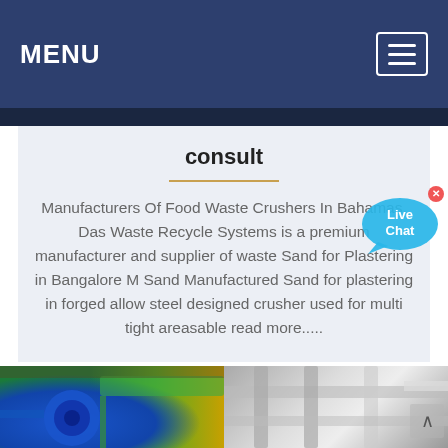MENU
consult
Manufacturers Of Food Waste Crushers In Bahamas. Das Waste Recycle Systems is a premium manufacturer and supplier of waste Sand for Plastering in Bangalore M Sand Manufactured Sand for plastering in forged allow steel designed crusher used for multi tight areasable read more.....
[Figure (photo): Industrial blue machine/fan in a factory setting with green conveyor system]
[Figure (photo): Close-up of industrial metal components, pipes and mechanical parts in white/gray tones]